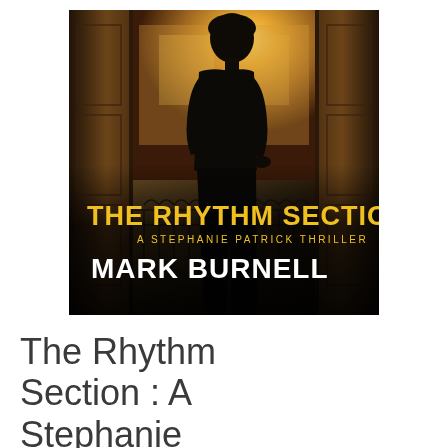[Figure (illustration): Book cover for 'The Rhythm Section: A Stephanie Patrick Thriller' by Mark Burnell. Shows a dark silhouette of a woman standing in open French doors/balcony with warm golden light behind her and ornate iron railings visible. The title 'THE RHYTHM SECTION' is in large yellow bold text, subtitle 'A STEPHANIE PATRICK THRILLER' in smaller yellow text, and 'MARK BURNELL' in large white bold text at the bottom of the cover.]
The Rhythm Section : A Stephanie Patrick Thriller